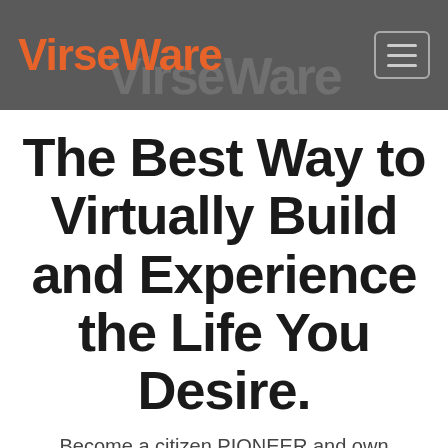VirseWare
The Best Way to Virtually Build and Experience the Life You Desire.
Become a citizen PIONEER and own ViRSEWare to kick start your ideal life inside